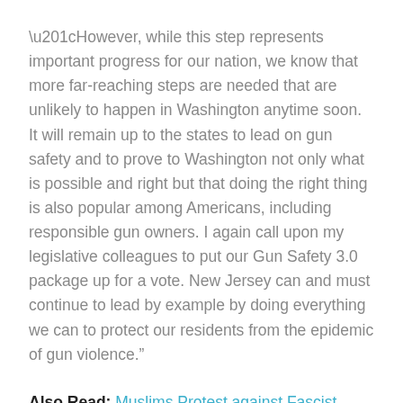“However, while this step represents important progress for our nation, we know that more far-reaching steps are needed that are unlikely to happen in Washington anytime soon. It will remain up to the states to lead on gun safety and to prove to Washington not only what is possible and right but that doing the right thing is also popular among Americans, including responsible gun owners. I again call upon my legislative colleagues to put our Gun Safety 3.0 package up for a vote. New Jersey can and must continue to lead by example by doing everything we can to protect our residents from the epidemic of gun violence.”
Also Read: Muslims Protest against Fascist Modi Regime in USA and Canada